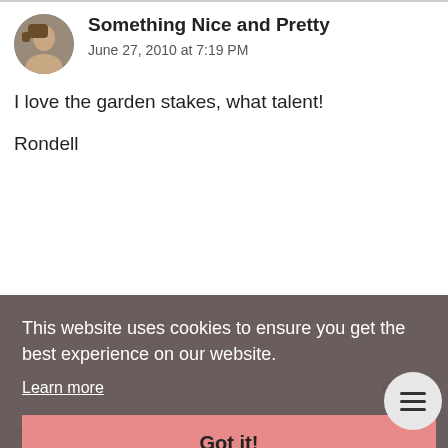Something Nice and Pretty
June 27, 2010 at 7:19 PM
I love the garden stakes, what talent!

Rondell
Reply
This website uses cookies to ensure you get the best experience on our website.
Learn more
Got it!
that cute! how, and HGTV just isn't as good as it used to be